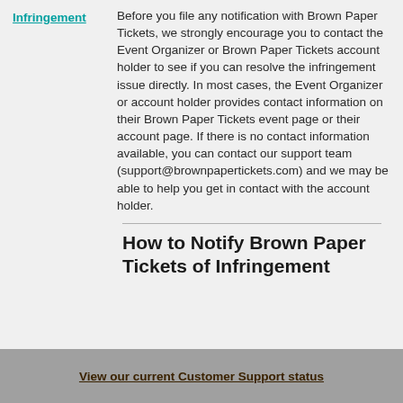Infringement
Before you file any notification with Brown Paper Tickets, we strongly encourage you to contact the Event Organizer or Brown Paper Tickets account holder to see if you can resolve the infringement issue directly. In most cases, the Event Organizer or account holder provides contact information on their Brown Paper Tickets event page or their account page. If there is no contact information available, you can contact our support team (support@brownpapertickets.com) and we may be able to help you get in contact with the account holder.
How to Notify Brown Paper Tickets of Infringement
View our current Customer Support status